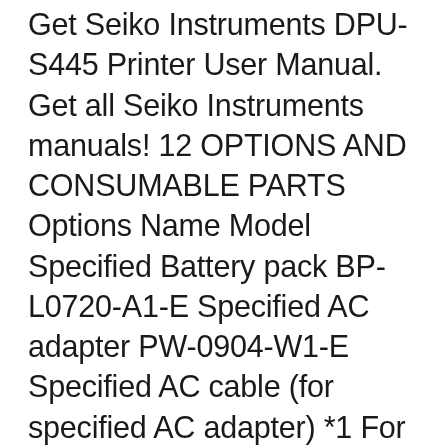Get Seiko Instruments DPU-S445 Printer User Manual. Get all Seiko Instruments manuals! 12 OPTIONS AND CONSUMABLE PARTS Options Name Model Specified Battery pack BP-L0720-A1-E Specified AC adapter PW-0904-W1-E Specified AC cable (for specified AC adapter) *1 For Japan CB-JP02-18B-E For USA, Canada CB-US02-18B-E For EU, EFTA CB-CE02-18B-E Seiko Printers. SII Thermal Printer Division of Seiko Instruments is a pioneer in high-performance, high-reliability direct thermal printing solutions. SII has shipped over 50 million units worldwide and is a global market leader in direct thermal print mechanisms.